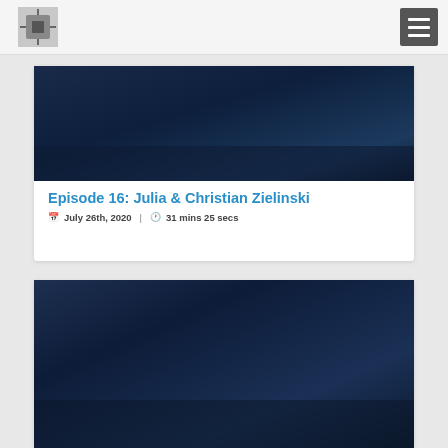[Figure (photo): Dark navy blue thumbnail image for Episode 16]
Episode 16: Julia & Christian Zielinski
July 26th, 2020  |  31 mins 25 secs
[Figure (photo): Dark navy blue thumbnail image for another episode]